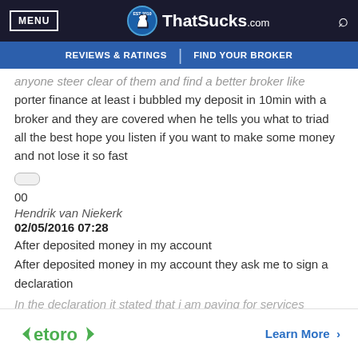MENU | ThatSucks.com | EST 2010
REVIEWS & RATINGS | FIND YOUR BROKER
anyone steer clear of them and find a better broker like porter finance at least i bubbled my deposit in 10min with a broker and they are covered when he tells you what to triad all the best hope you listen if you want to make some money and not lose it so fast
00
Hendrik van Niekerk
02/05/2016 07:28
After deposited money in my account
After deposited money in my account they ask me to sign a declaration
In the declaration it stated that i am paying for services
[Figure (logo): eToro logo with green text and arrows]